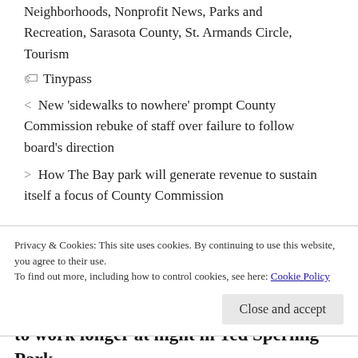Neighborhoods, Nonprofit News, Parks and Recreation, Sarasota County, St. Armands Circle, Tourism
🏷 Tinypass
< New 'sidewalks to nowhere' prompt County Commission rebuke of staff over failure to follow board's direction
> How The Bay park will generate revenue to sustain itself a focus of County Commission
Privacy & Cookies: This site uses cookies. By continuing to use this website, you agree to their use. To find out more, including how to control cookies, see here: Cookie Policy
Close and accept
I thought a contractor would be able to work longer at night in Ted Sperling Park...